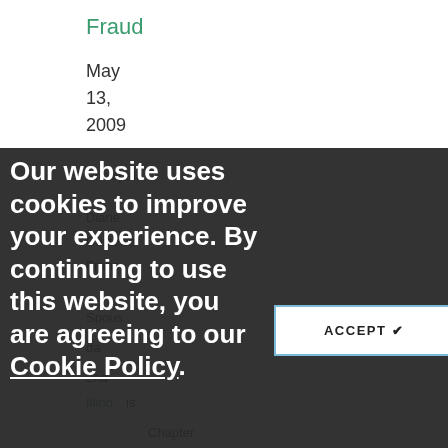Fraud
May 13, 2009
Our website uses cookies to improve your experience. By continuing to use this website, you are agreeing to our Cookie Policy.
ACCEPT ✔